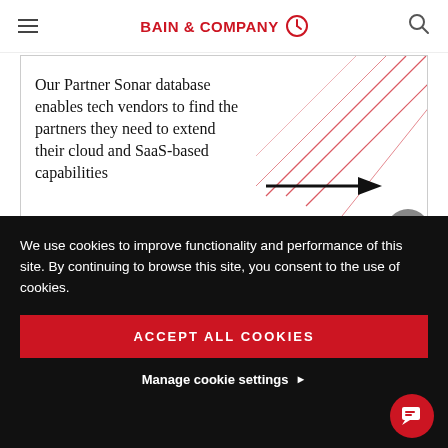BAIN & COMPANY
Our Partner Sonar database enables tech vendors to find the partners they need to extend their cloud and SaaS-based capabilities
Client Results
We use cookies to improve functionality and performance of this site. By continuing to browse this site, you consent to the use of cookies.
ACCEPT ALL COOKIES
Manage cookie settings ▶